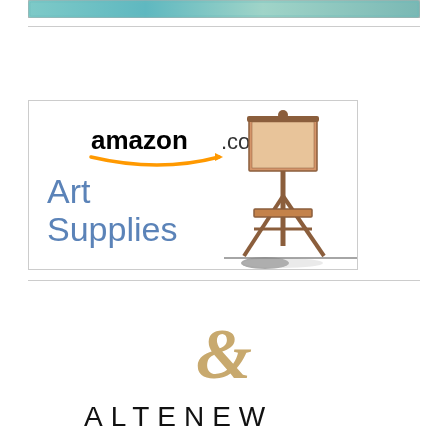[Figure (logo): Amazon.com Art Supplies banner advertisement with amazon logo, orange arrow, blue Art Supplies text, and wooden easel image]
[Figure (logo): Altenew brand logo with decorative gold ampersand and black text ALTENEW]